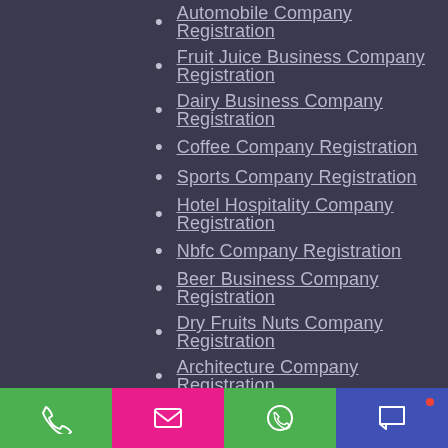Automobile Company Registration
Fruit Juice Business Company Registration
Dairy Business Company Registration
Coffee Company Registration
Sports Company Registration
Hotel Hospitality Company Registration
Nbfc Company Registration
Beer Business Company Registration
Dry Fruits Nuts Company Registration
Architecture Company Registration
Construction Company Registration
Cement Company Registration
Retail Company Registration
Leather Company Registration
Banking Company Registration